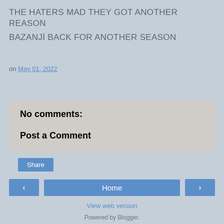THE HATERS MAD THEY GOT ANOTHER REASON
BAZANJİ BACK FOR ANOTHER SEASON
on May 01, 2022
Share
No comments:
Post a Comment
< Home >
View web version
Powered by Blogger.